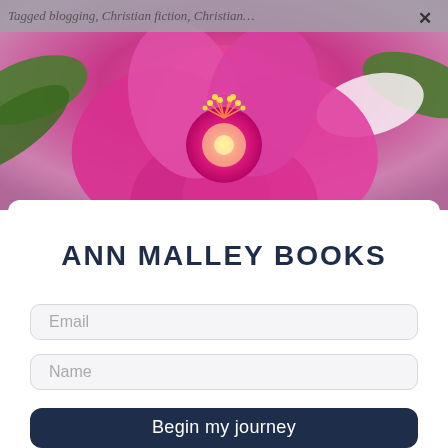[Figure (photo): Pink water lily / lotus flower close-up photo used as background header image]
Tagged blogging, Christian fiction, Christian…
ANN MALLEY BOOKS
Email
Name
Begin my journey